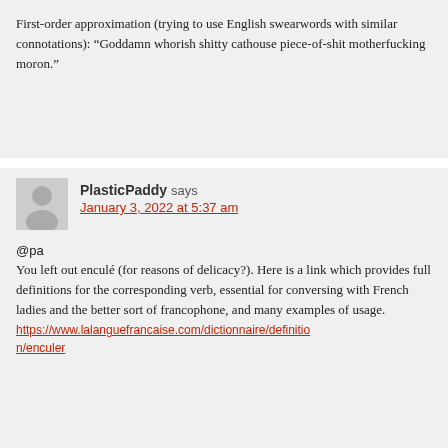First-order approximation (trying to use English swearwords with similar connotations): “Goddamn whorish shitty cathouse piece-of-shit motherfucking moron.”
PlasticPaddy says
January 3, 2022 at 5:37 am
@pa
You left out enculé (for reasons of delicacy?). Here is a link which provides full definitions for the corresponding verb, essential for conversing with French ladies and the better sort of francophone, and many examples of usage.
https://www.lalanguefrancaise.com/dictionnaire/definition/enculer